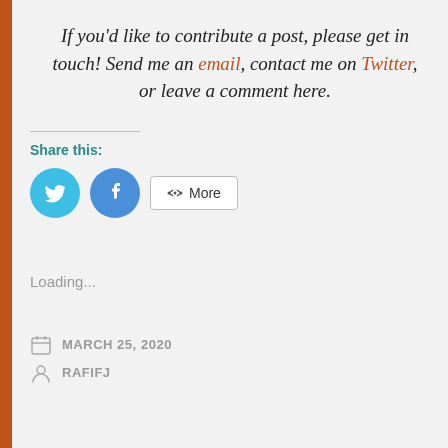If you'd like to contribute a post, please get in touch! Send me an email, contact me on Twitter, or leave a comment here.
Share this:
[Figure (other): Social share buttons: Twitter circle button, Facebook circle button, and a More button with share icon]
Loading...
MARCH 25, 2020
RAFIFJ